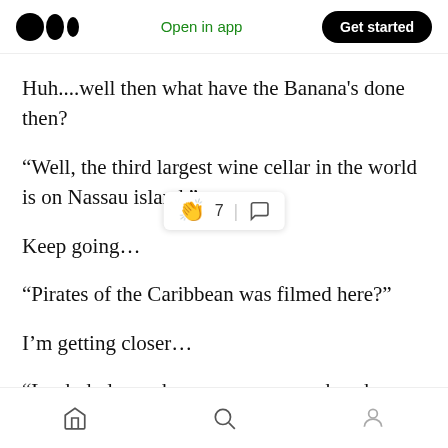Open in app | Get started
Huh....well then what have the Banana's done then?
“Well, the third largest wine cellar in the world is on Nassau island.”
Keep going…
“Pirates of the Caribbean was filmed here?”
I’m getting closer…
“Look dude, we ha…ze, beaches, and women. Just shut …… already and come